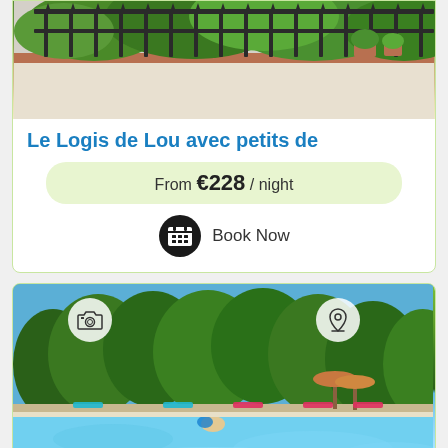[Figure (photo): Photo of a property exterior with iron fence and green vegetation, terracotta wall]
Le Logis de Lou avec petits de
From €228 / night
Book Now
[Figure (photo): Photo of a swimming pool with blue water, sunbathers on chairs, and trees in background under blue sky]